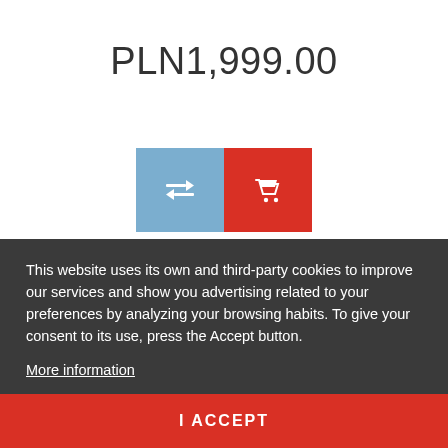PLN1,999.00
[Figure (screenshot): Two action buttons: a blue button with a compare/arrows icon and a red button with a shopping cart icon]
[Figure (screenshot): A vertical blue FILTER tab with funnel icon on the right edge of the page]
[Figure (photo): Partial view of a white sewing machine or similar electronic device]
This website uses its own and third-party cookies to improve our services and show you advertising related to your preferences by analyzing your browsing habits. To give your consent to its use, press the Accept button.
More information
I ACCEPT